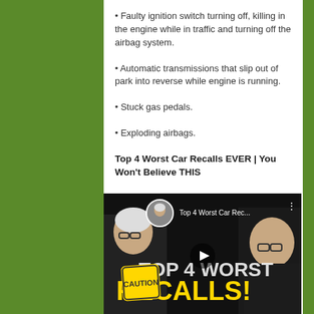• Faulty ignition switch turning off, killing in the engine while in traffic and turning off the airbag system.
• Automatic transmissions that slip out of park into reverse while engine is running.
• Stuck gas pedals.
• Exploding airbags.
Top 4 Worst Car Recalls EVER | You Won't Believe THIS
[Figure (screenshot): Video thumbnail for 'Top 4 Worst Car Rec...' showing two men and text 'TOP 4 WORST RECALLS!' in yellow letters with a caution sign and play button overlay.]